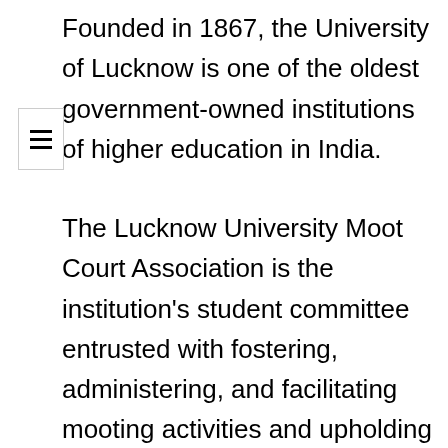Founded in 1867, the University of Lucknow is one of the oldest government-owned institutions of higher education in India.
The Lucknow University Moot Court Association is the institution's student committee entrusted with fostering, administering, and facilitating mooting activities and upholding the benchmark of excellence that Lucknow University has set for itself.